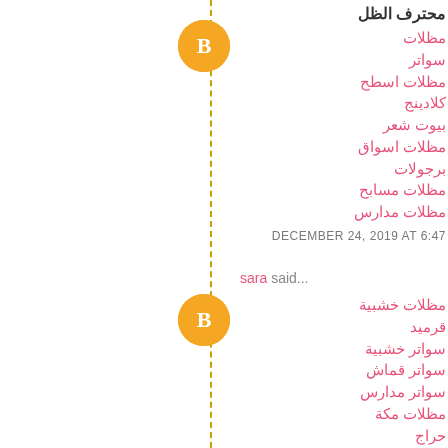محترف الظل
مظلات
سواتر
مظلات اسطح
كلادينج
بيوت شعر
مظلات اسواق
برجولات
مظلات مسابح
مظلات مدارس
DECEMBER 24, 2019 AT 6:47
sara said...
مظلات خشبية
قرميد
سواتر خشبية
سواتر قماش
سواتر مدارس
مظلات مكة
حراج